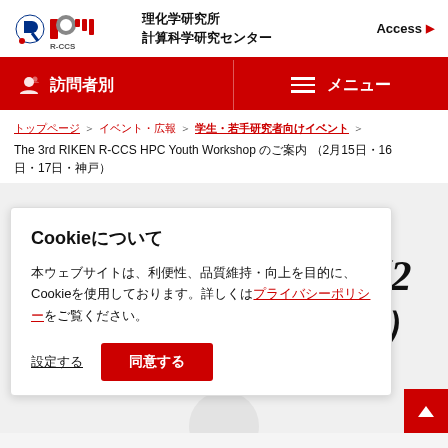[Figure (logo): RIKEN R-CCS logo with red circular and bar icons]
理化学研究所
計算科学研究センター
Access ▶
👤 訪問者別
≡ メニュー
トップページ ＞ イベント・広報 ＞ 学生・若手研究者向けイベント ＞ The 3rd RIKEN R-CCS HPC Youth Workshop のご案内 （2月15日・16日・17日・神戸）
'S HPC
案内 （2
・神戸）
Cookieについて
本ウェブサイトは、利便性、品質維持・向上を目的に、Cookieを使用しております。詳しくはプライバシーポリシーをご覧ください。
設定する
同意する